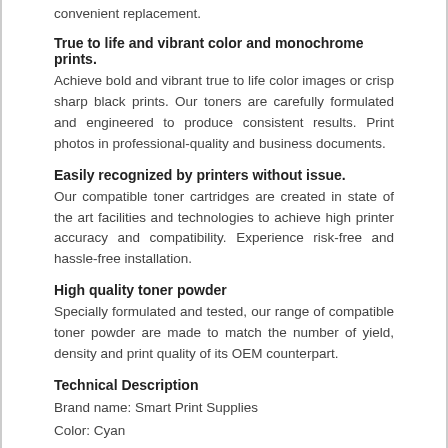convenient replacement.
True to life and vibrant color and monochrome prints.
Achieve bold and vibrant true to life color images or crisp sharp black prints. Our toners are carefully formulated and engineered to produce consistent results. Print photos in professional-quality and business documents.
Easily recognized by printers without issue.
Our compatible toner cartridges are created in state of the art facilities and technologies to achieve high printer accuracy and compatibility. Experience risk-free and hassle-free installation.
High quality toner powder
Specially formulated and tested, our range of compatible toner powder are made to match the number of yield, density and print quality of its OEM counterpart.
Technical Description
Brand name: Smart Print Supplies
Color: Cyan
PartNumber: 44469703
Material Type: Toner Powder